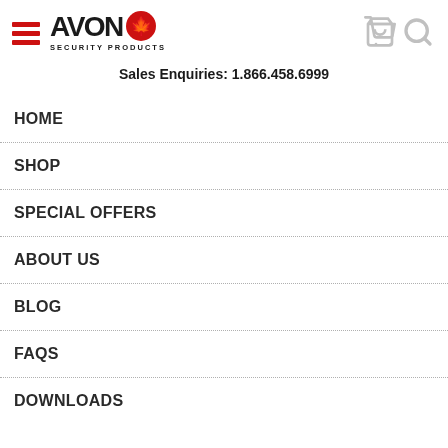[Figure (logo): Avon Security Products logo with hamburger menu icon on left, cart and search icons on right]
Sales Enquiries: 1.866.458.6999
HOME
SHOP
SPECIAL OFFERS
ABOUT US
BLOG
FAQS
DOWNLOADS